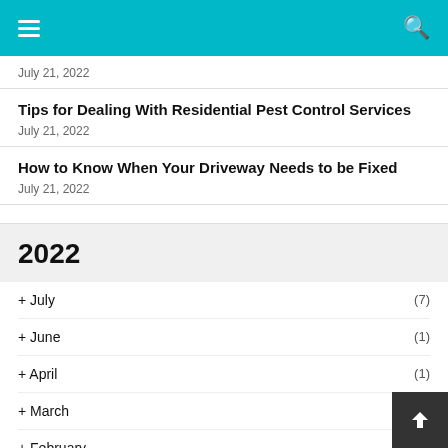Navigation and search header bar
July 21, 2022
Tips for Dealing With Residential Pest Control Services
July 21, 2022
How to Know When Your Driveway Needs to be Fixed
July 21, 2022
2022
+ July (7)
+ June (1)
+ April (1)
+ March
+ February (1)
+ January (5)